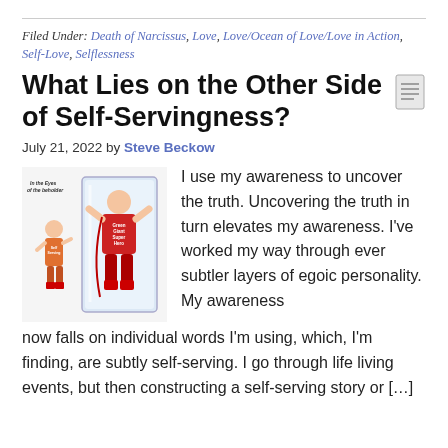Filed Under: Death of Narcissus, Love, Love/Ocean of Love/Love in Action, Self-Love, Selflessness
What Lies on the Other Side of Self-Servingness?
July 21, 2022 by Steve Beckow
[Figure (illustration): Book cover cartoon illustration showing a small self-serving figure reflected as a large superhero (Green Giant Super Hero) in a mirror, with text 'In the Eyes of the Beholder']
I use my awareness to uncover the truth. Uncovering the truth in turn elevates my awareness. I've worked my way through ever subtler layers of egoic personality. My awareness now falls on individual words I'm using, which, I'm finding, are subtly self-serving. I go through life living events, but then constructing a self-serving story or […]